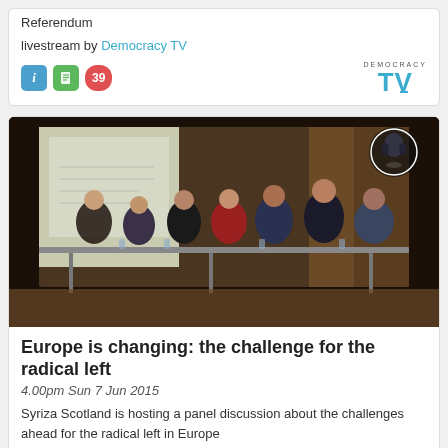Referendum
livestream by Democracy TV
[Figure (logo): Democracy TV logo with dotted TV letters]
[Figure (photo): Panel discussion photo showing multiple people seated at a long table in a formal hall setting]
Europe is changing: the challenge for the radical left
4.00pm Sun 7 Jun 2015
Syriza Scotland is hosting a panel discussion about the challenges ahead for the radical left in Europe